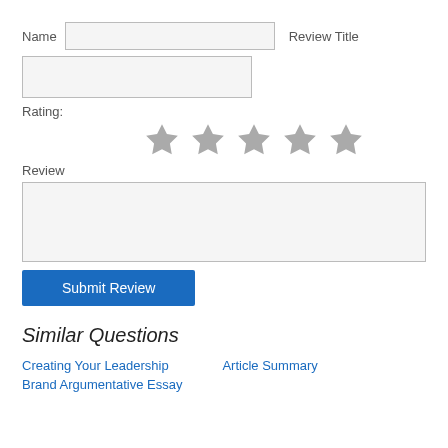Name
Review Title
Rating:
[Figure (other): Five grey star rating icons in a row]
Review
Submit Review
Similar Questions
Creating Your Leadership Brand Argumentative Essay
Article Summary